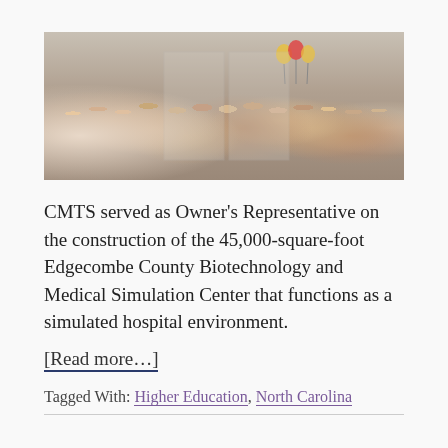[Figure (photo): Group of people gathered outdoors at a building entrance, some holding balloons, at what appears to be a ribbon-cutting or opening ceremony event.]
CMTS served as Owner’s Representative on the construction of the 45,000-square-foot Edgecombe County Biotechnology and Medical Simulation Center that functions as a simulated hospital environment.
[Read more…]
Tagged With: Higher Education, North Carolina